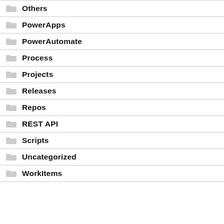Others
PowerApps
PowerAutomate
Process
Projects
Releases
Repos
REST API
Scripts
Uncategorized
WorkItems